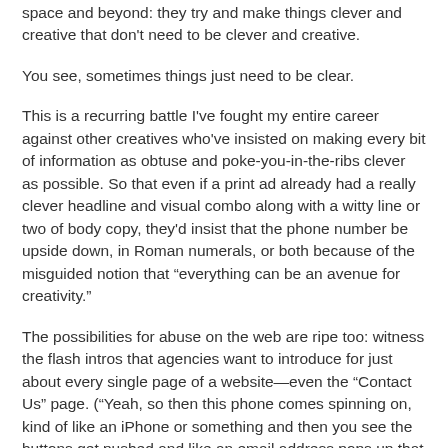space and beyond: they try and make things clever and creative that don't need to be clever and creative.
You see, sometimes things just need to be clear.
This is a recurring battle I've fought my entire career against other creatives who've insisted on making every bit of information as obtuse and poke-you-in-the-ribs clever as possible. So that even if a print ad already had a really clever headline and visual combo along with a witty line or two of body copy, they'd insist that the phone number be upside down, in Roman numerals, or both because of the misguided notion that “everything can be an avenue for creativity.”
The possibilities for abuse on the web are ripe too: witness the flash intros that agencies want to introduce for just about every single page of a website—even the “Contact Us” page. (“Yeah, so then this phone comes spinning on, kind of like an iPhone or something and then you see the buttons get pushed and like an email address pops up that says I’mTheHelpDude@acme.com and it’s like you’re sending email and then that spins…”)